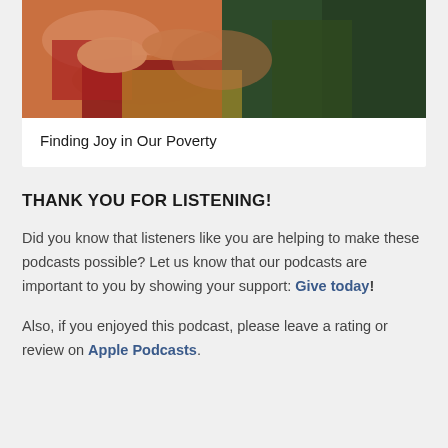[Figure (photo): A painting showing hands and arms in warm tones with red and earthy fabric, partially visible figures]
Finding Joy in Our Poverty
THANK YOU FOR LISTENING!
Did you know that listeners like you are helping to make these podcasts possible? Let us know that our podcasts are important to you by showing your support: Give today!
Also, if you enjoyed this podcast, please leave a rating or review on Apple Podcasts.